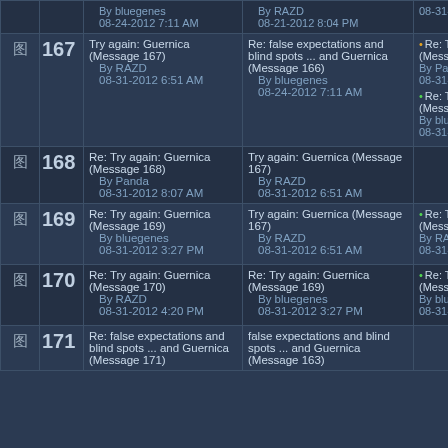|  | # | Message | In Reply To | Replies |
| --- | --- | --- | --- | --- |
| [icon] | 167 | Try again: Guernica (Message 167)
By RAZD
08-31-2012 6:51 AM | Re: false expectations and blind spots ... and Guernica (Message 166)
By bluegenes
08-24-2012 7:11 AM | • Re: Try again: Guernica (Message 168)
By Panda
08-31-2012 8:07 AM
• Re: Try again: Guernica (Message 169)
By bluegenes
08-31-2012 3:27 PM |
| [icon] | 168 | Re: Try again: Guernica (Message 168)
By Panda
08-31-2012 8:07 AM | Try again: Guernica (Message 167)
By RAZD
08-31-2012 6:51 AM |  |
| [icon] | 169 | Re: Try again: Guernica (Message 169)
By bluegenes
08-31-2012 3:27 PM | Try again: Guernica (Message 167)
By RAZD
08-31-2012 6:51 AM | • Re: Try again: Guernica (Message 170)
By RAZD
08-31-2012 4:20 PM |
| [icon] | 170 | Re: Try again: Guernica (Message 170)
By RAZD
08-31-2012 4:20 PM | Re: Try again: Guernica (Message 169)
By bluegenes
08-31-2012 3:27 PM | • Re: Try again: Guernica (Message 172)
By bluegenes
08-31-2012 5:09 PM |
| [icon] | 171 | Re: false expectations and blind spots ... and Guernica (Message 171) | false expectations and blind spots ... and Guernica (Message 163) |  |